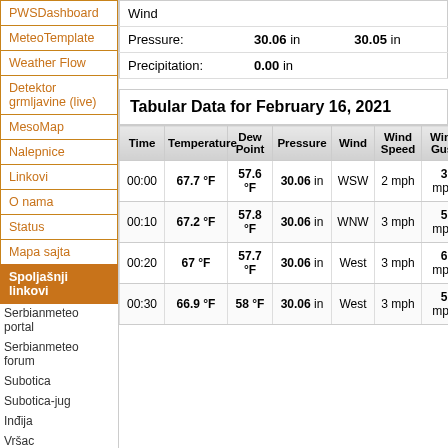PWSDashboard
MeteoTemplate
Weather Flow
Detektor grmljavine (live)
MesoMap
Nalepnice
Linkovi
O nama
Status
Mapa sajta
Spoljašnji linkovi
Serbianmeteo portal
Serbianmeteo forum
Subotica
Subotica-jug
Inđija
Vršac
Pančevo
Pančevo centar
Karaburma
Ravnje
|  | Current | High/Low |
| --- | --- | --- |
| Wind |  |  |
| Pressure: | 30.06 in | 30.05 in |
| Precipitation: | 0.00 in |  |
Tabular Data for February 16, 2021
| Time | Temperature | Dew Point | Pressure | Wind | Wind Speed | Wind Gust |
| --- | --- | --- | --- | --- | --- | --- |
| 00:00 | 67.7 °F | 57.6 °F | 30.06 in | WSW | 2 mph | 3 mph |
| 00:10 | 67.2 °F | 57.8 °F | 30.06 in | WNW | 3 mph | 5 mph |
| 00:20 | 67 °F | 57.7 °F | 30.06 in | West | 3 mph | 6 mph |
| 00:30 | 66.9 °F | 58 °F | 30.06 in | West | 3 mph | 5 mph |